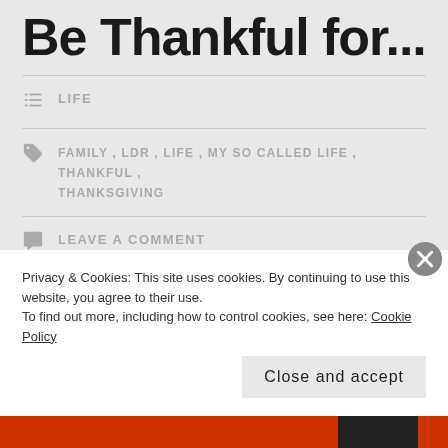Be Thankful for...
LIFE
FAMILY , LDR , LIFE , MY SO CALLED LIFE , THANKFUL , THANKSGIVING
LEAVE A COMMENT
This has been a challenging year and it isn't over yet. In spite of everything that might be going on in our li...
Privacy & Cookies: This site uses cookies. By continuing to use this website, you agree to their use. To find out more, including how to control cookies, see here: Cookie Policy
Close and accept